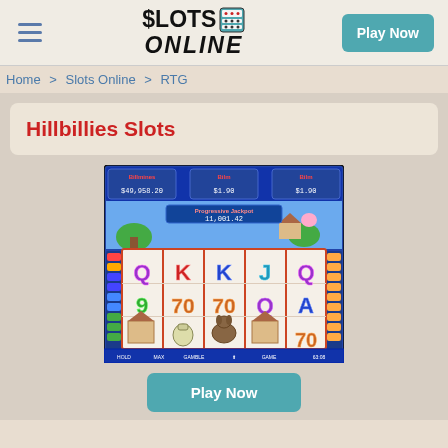$SLOTS ONLINE — Play Now
Home > Slots Online > RTG
Hillbillies Slots
[Figure (screenshot): Screenshot of the Hillbillies Slots game interface showing a 5-reel slot machine with card symbols (Q, K, J, A, 9, 10), hillbilly-themed symbols (jug, dog, house), colorful reels, jackpot displays ($49,958.20, $1.90, $11,001.42), and betting controls at the bottom.]
Play Now